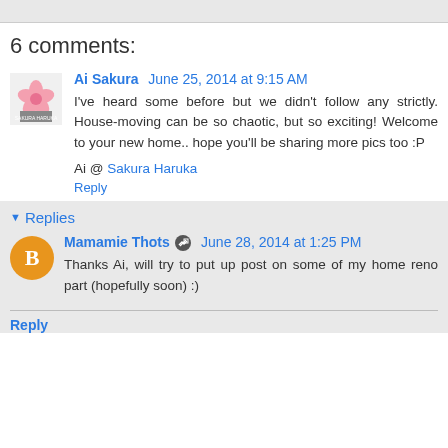6 comments:
Ai Sakura June 25, 2014 at 9:15 AM
I've heard some before but we didn't follow any strictly. House-moving can be so chaotic, but so exciting! Welcome to your new home.. hope you'll be sharing more pics too :P
Ai @ Sakura Haruka
Reply
Replies
Mamamie Thots June 28, 2014 at 1:25 PM
Thanks Ai, will try to put up post on some of my home reno part (hopefully soon) :)
Reply